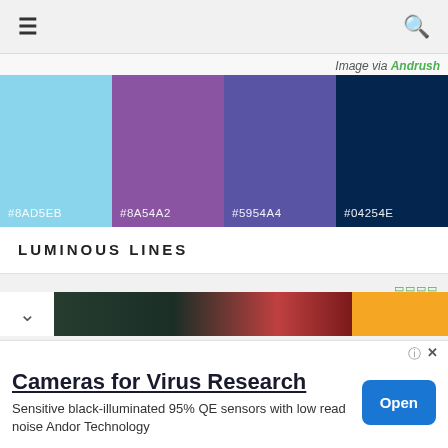≡  🔍
Image via Andrush
[Figure (infographic): Color palette swatches: #8AD5EB (light blue), #8A54A2 (purple), #5954A4 (blue-purple), #04254E (dark navy)]
LUMINOUS LINES
□□□□
[Figure (photo): Bottom banner with chevron, dark image of shoes/sneaker, and golden yellow block]
[Figure (infographic): Advertisement: Cameras for Virus Research — Sensitive black-illuminated 95% QE sensors with low read noise Andor Technology — Open button]